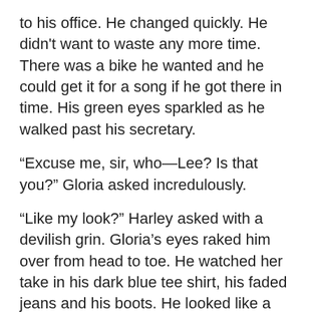to his office. He changed quickly. He didn't want to waste any more time. There was a bike he wanted and he could get it for a song if he got there in time. His green eyes sparkled as he walked past his secretary.
“Excuse me, sir, who—Lee? Is that you?” Gloria asked incredulously.
“Like my look?” Harley asked with a devilish grin. Gloria’s eyes raked him over from head to toe. He watched her take in his dark blue tee shirt, his faded jeans and his boots. He looked like a bad boy. If only she knew that he still was one underneath the lawyer veneer.
Gloria grinned. “If I was only 20 years younger, I’d be after you. You look like a bad boy from hell, Lee.”